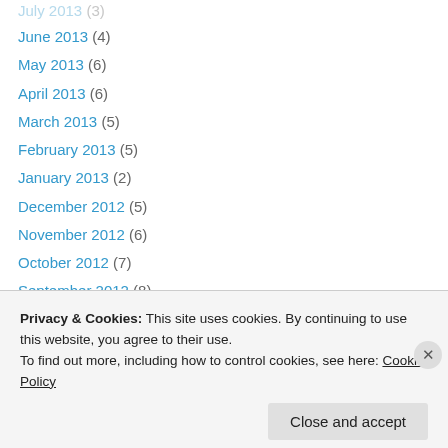July 2013 (3)
June 2013 (4)
May 2013 (6)
April 2013 (6)
March 2013 (5)
February 2013 (5)
January 2013 (2)
December 2012 (5)
November 2012 (6)
October 2012 (7)
September 2012 (8)
August 2012 (8)
July 2012 (7)
June 2012 (6)
Privacy & Cookies: This site uses cookies. By continuing to use this website, you agree to their use.
To find out more, including how to control cookies, see here: Cookie Policy
Close and accept